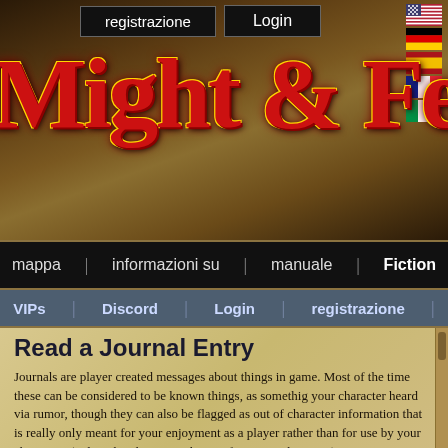[Figure (screenshot): Website header banner with medieval fantasy game logo 'Might & Fe...' in red and gold decorative font on a stone/leather textured brown background. Top bar shows 'registrazione' and 'Login' buttons. Right side shows flag icons for multiple languages (US, German, Spanish, French, Italian).]
registrazione  Login
Might & Fe...
mappa   informazioni su   manuale   Fiction
VIPs   Discord   Login   registrazione
Read a Journal Entry
Journals are player created messages about things in game. Most of the time these can be considered to be known things, as somethig your character heard via rumor, though they can also be flagged as out of character information that is really only meant for your enjoyment as a player rather than for use by your characters (unless they happen to know of it some other way.)
A Meeting In The Northlands Ii
Written by Takkan d'Raibesselt on 33-58-2 (June 13,